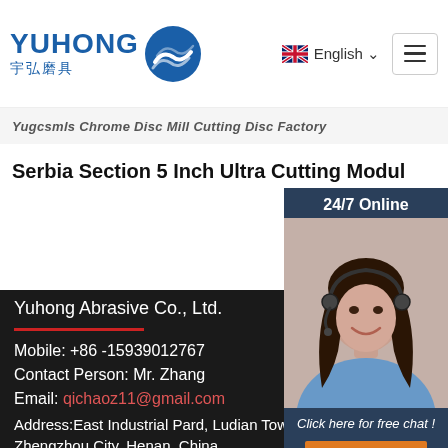Yuhong 宇弘磨具 — English — menu
Serbia Section 5 Inch Ultra Cutting Modul...
Yuhong Abrasive Co., Ltd.
Mobile: +86 -15939012767
Contact Person: Mr. Zhang
Email: qichaoz11@gmail.com
Address:East Industrial Pard, Ludian Town, Zhengzhou City, Henan, China